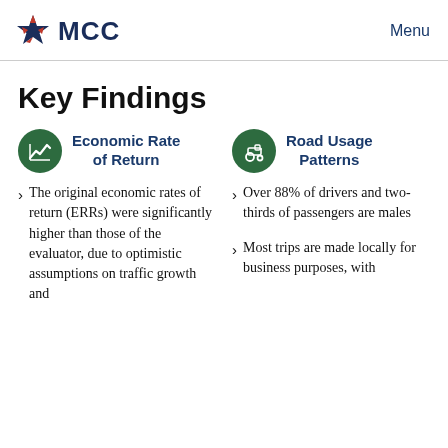MCC  Menu
Key Findings
Economic Rate of Return
The original economic rates of return (ERRs) were significantly higher than those of the evaluator, due to optimistic assumptions on traffic growth and
Road Usage Patterns
Over 88% of drivers and two-thirds of passengers are males
Most trips are made locally for business purposes, with